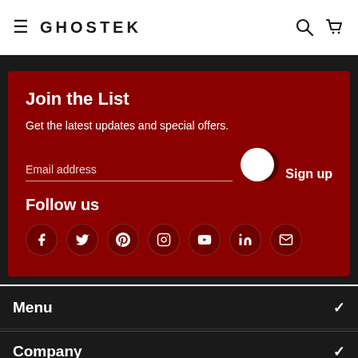GHOSTEK
Join the List
Get the latest updates and special offers.
Email address   Sign up
Follow us
Social icons: Facebook, Twitter, Pinterest, Instagram, YouTube, LinkedIn, Email
Menu
Company